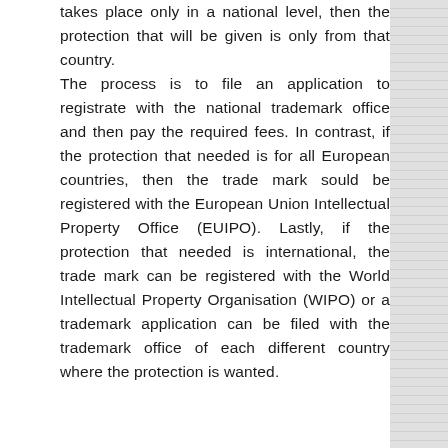takes place only in a national level, then the protection that will be given is only from that country. The process is to file an application to registrate with the national trademark office and then pay the required fees. In contrast, if the protection that needed is for all European countries, then the trade mark sould be registered with the European Union Intellectual Property Office (EUIPO). Lastly, if the protection that needed is international, the trade mark can be registered with the World Intellectual Property Organisation (WIPO) or a trademark application can be filed with the trademark office of each different country where the protection is wanted.